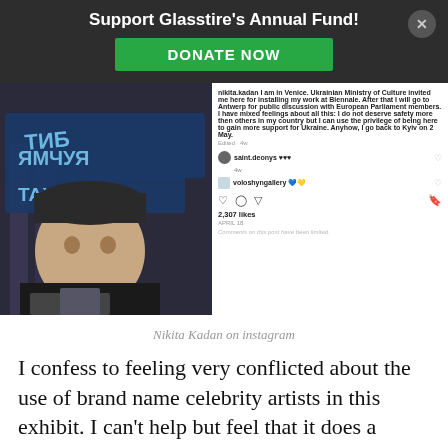Support Glasstire's Annual Fund! DONATE NOW
[Figure (screenshot): Instagram screenshot showing Nikita Kadan's selfie in Venice with a caption about being invited by the Ukrainian Ministry of Culture to install work at Biennale, with comments from saint.deonys and voloshyngallery, 2,307 likes]
Nikita Kadan on instagram
I confess to feeling very conflicted about the use of brand name celebrity artists in this exhibit. I can't help but feel that it does a